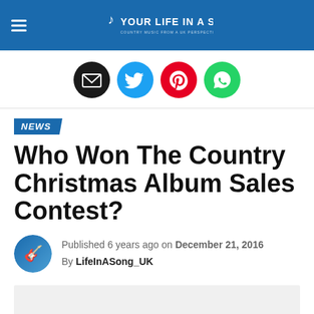YOUR LIFE IN A SONG
[Figure (infographic): Social sharing icons row: email (black), Twitter (blue), Pinterest (red), WhatsApp (green)]
NEWS
Who Won The Country Christmas Album Sales Contest?
Published 6 years ago on December 21, 2016
By LifeInASong_UK
[Figure (other): Grey placeholder content block]